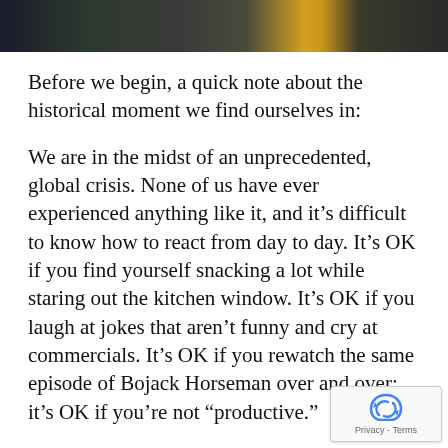[Figure (photo): Dark photo strip at the top of the page showing blurry outdoor scene with dark and golden tones]
Before we begin, a quick note about the historical moment we find ourselves in:
We are in the midst of an unprecedented, global crisis. None of us have ever experienced anything like it, and it's difficult to know how to react from day to day. It's OK if you find yourself snacking a lot while staring out the kitchen window. It's OK if you laugh at jokes that aren't funny and cry at commercials. It's OK if you rewatch the same episode of Bojack Horseman over and over; it's OK if you're not “productive.”
It’s OK to not know how to be.